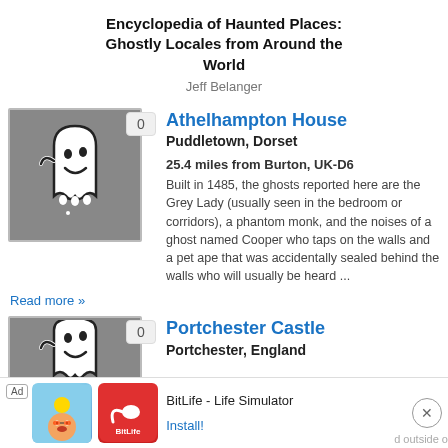Encyclopedia of Haunted Places: Ghostly Locales from Around the World
Jeff Belanger
[Figure (illustration): Ghost cartoon illustration on grey background with badge showing 0]
Athelhampton House
Puddletown, Dorset
25.4 miles from Burton, UK-D6
Built in 1485, the ghosts reported here are the Grey Lady (usually seen in the bedroom or corridors), a phantom monk, and the noises of a ghost named Cooper who taps on the walls and a pet ape that was accidentally sealed behind the walls who will usually be heard ...
Read more »
[Figure (illustration): Ghost cartoon illustration on grey background with badge showing 0 (second entry - Portchester Castle)]
Portchester Castle
Portchester, England
[Figure (other): Advertisement banner: BitLife - Life Simulator app ad with Install! button and close button]